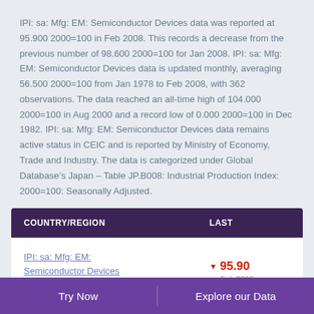IPI: sa: Mfg: EM: Semiconductor Devices data was reported at 95.900 2000=100 in Feb 2008. This records a decrease from the previous number of 98.600 2000=100 for Jan 2008. IPI: sa: Mfg: EM: Semiconductor Devices data is updated monthly, averaging 56.500 2000=100 from Jan 1978 to Feb 2008, with 362 observations. The data reached an all-time high of 104.000 2000=100 in Aug 2000 and a record low of 0.000 2000=100 in Dec 1982. IPI: sa: Mfg: EM: Semiconductor Devices data remains active status in CEIC and is reported by Ministry of Economy, Trade and Industry. The data is categorized under Global Database’s Japan – Table JP.B008: Industrial Production Index: 2000=100: Seasonally Adjusted.
| COUNTRY/REGION | LAST |
| --- | --- |
| IPI: sa: Mfg: EM: Semiconductor Devices (2000=100) | 95.90 Feb 2008 |
Try Now   Explore our Data